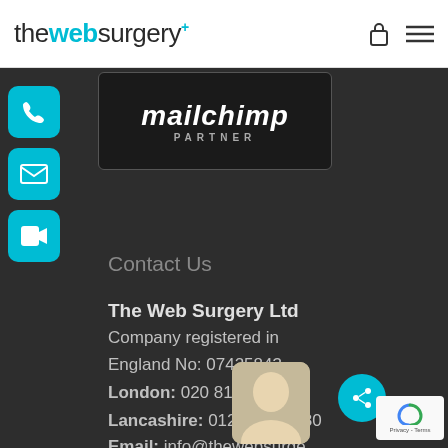thewebsurgery+ [logo with lock and menu icons]
[Figure (logo): Mailchimp Partner badge on dark background]
[Figure (illustration): Cyan phone icon button on left side]
[Figure (illustration): Cyan email/envelope icon button on left side]
[Figure (illustration): Cyan video/camera icon button on left side]
Contact Us
The Web Surgery Ltd
Company registered in
England No: 07425843
London: 020 8144 6540
Lancashire: 01282 570 880
Email: info@thewebsurge...